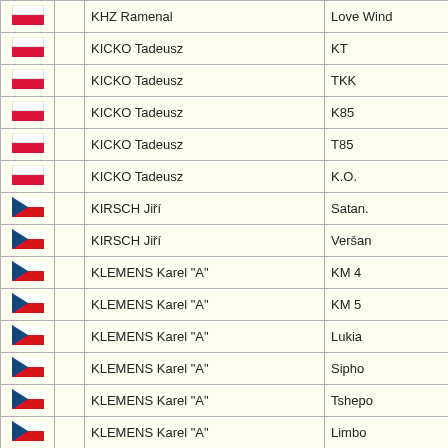| Flag |  | Name | Code |
| --- | --- | --- | --- |
| PL |  | KHZ Ramena1 | Love Wind |
| PL |  | KICKO Tadeusz | KT |
| PL |  | KICKO Tadeusz | TKK |
| PL |  | KICKO Tadeusz | K85 |
| PL |  | KICKO Tadeusz | T85 |
| PL |  | KICKO Tadeusz | K.O. |
| CZ |  | KIRSCH Jiří | Satan. |
| CZ |  | KIRSCH Jiří | Veršan |
| CZ |  | KLEMENS Karel "A" | KM 4 |
| CZ |  | KLEMENS Karel "A" | KM 5 |
| CZ |  | KLEMENS Karel "A" | Lukia |
| CZ |  | KLEMENS Karel "A" | Sipho |
| CZ |  | KLEMENS Karel "A" | Tshepo |
| CZ |  | KLEMENS Karel "A" | Limbo |
| CZ |  | KLEMENS Karel "A" | KM 9 |
| CZ |  | KLEMENS Karel "A" | Moana |
| CZ |  | KLEMENS Karel "A" | KM 1 |
| CZ |  | KLEMENS Karel "A" | Lindiwe |
| CZ |  | KLEMENS Karel "B" | Phive |
| CZ |  |  |  |